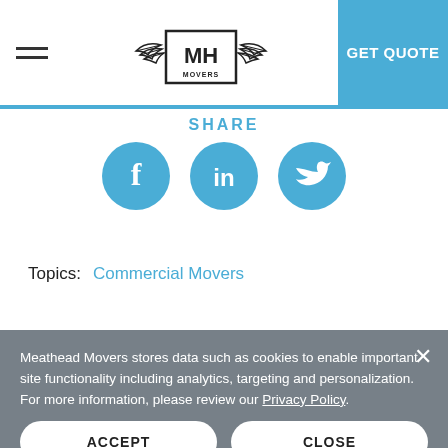[Figure (logo): MH Movers logo with wings, centered in header]
GET QUOTE
SHARE
[Figure (infographic): Three blue circular social media icons: Facebook (f), LinkedIn (in), Twitter (bird)]
Topics:  Commercial Movers
Meathead Movers stores data such as cookies to enable important site functionality including analytics, targeting and personalization. For more information, please review our Privacy Policy.
ACCEPT
CLOSE